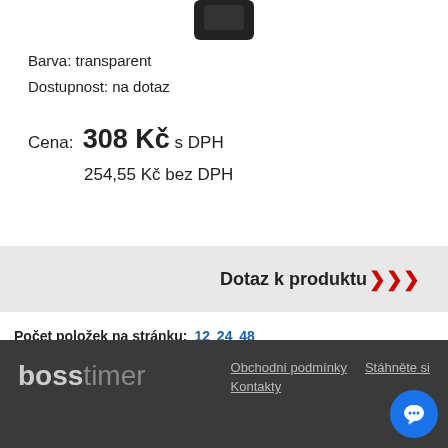[Figure (photo): Product photo of a black device, partially visible at the top of the page]
Barva: transparent
Dostupnost: na dotaz
Cena: 308 Kč s DPH
254,55 Kč bez DPH
Dotaz k produktu >>>
Počet položek na stránku: 12 24 48
Předchozí strana  1  2  3  4  5  6  ...  Další strana
bosstimer  Obchodní podmínky  Stáhněte si  Kontakty